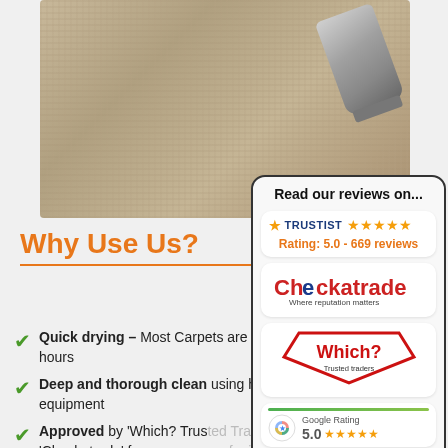[Figure (photo): Close-up photo of beige/tan carpet being cleaned with a vacuum or steam cleaning nozzle visible in top right corner]
Why Use Us?
Quick drying – Most Carpets are dry in 1-2 hours
Deep and thorough clean using high-tech equipment
Approved by 'Which? Trusted Traders' and 'Checkatrade' for your peace of mind
[Figure (infographic): Reviews box with title 'Read our reviews on...' containing Trustist (Rating: 5.0 - 669 reviews), Checkatrade (Where reputation matters), Which? Trusted traders, and Google Rating 5.0 with 5 stars]
Read our reviews on...
Rating: 5.0 - 669 reviews
Checkatrade - Where reputation matters
Which? Trusted traders
Google Rating 5.0